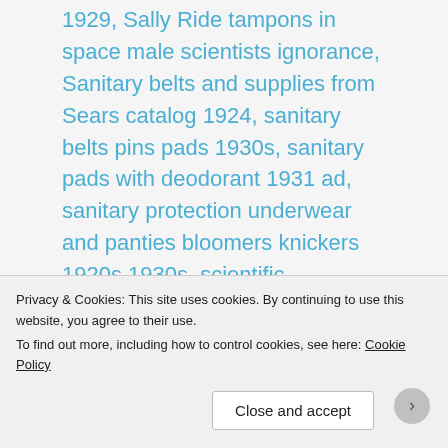1929, Sally Ride tampons in space male scientists ignorance, Sanitary belts and supplies from Sears catalog 1924, sanitary belts pins pads 1930s, sanitary pads with deodorant 1931 ad, sanitary protection underwear and panties bloomers knickers 1920s 1930s, scientific frankness on a subject known as woman's oldest problem Kotex ad 1924, secrecy about women's sanitary products 1950s, Spun-Lo rayon knit panties ad 1936 1930s, super-size Kotex ad 1929, Tampax tampons introduced 1936 ad 1937, tampons and
Privacy & Cookies: This site uses cookies. By continuing to use this website, you agree to their use. To find out more, including how to control cookies, see here: Cookie Policy
Close and accept